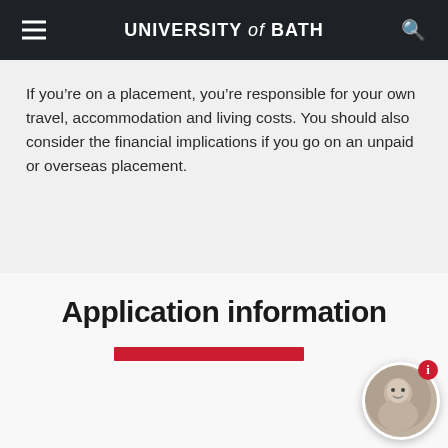UNIVERSITY of BATH
If you’re on a placement, you’re responsible for your own travel, accommodation and living costs. You should also consider the financial implications if you go on an unpaid or overseas placement.
Application information